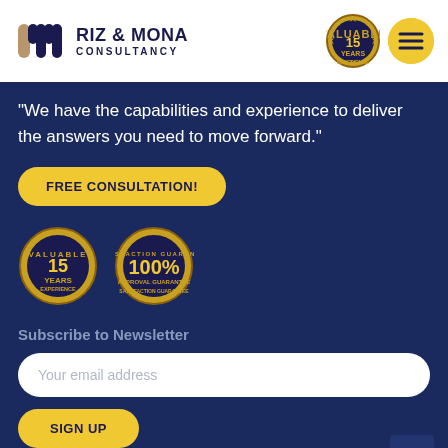[Figure (logo): Riz & Mona Consultancy logo with stylized 'rm' icon in navy and gold, text reads RIZ & MONA CONSULTANCY]
[Figure (logo): 15 Years Valuable Experience gold badge seal]
[Figure (illustration): Yellow circle with hamburger menu icon (three horizontal lines)]
“We have the capabilities and experience to deliver the answers you need to move forward.”
FREE CONSULTATION!
[Figure (illustration): 15 Years Valuable Experience gold badge seal]
[Figure (illustration): 100% Satisfaction Guarantee gold badge seal]
Subscribe to Newsletter
Your email address
SIGN UP
CONTACT INFO